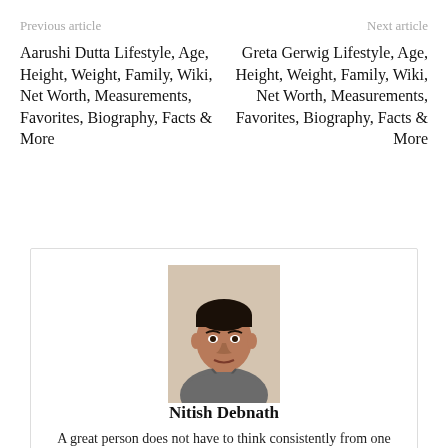Previous article    Next article
Aarushi Dutta Lifestyle, Age, Height, Weight, Family, Wiki, Net Worth, Measurements, Favorites, Biography, Facts & More
Greta Gerwig Lifestyle, Age, Height, Weight, Family, Wiki, Net Worth, Measurements, Favorites, Biography, Facts & More
[Figure (photo): Headshot photo of Nitish Debnath, a young man wearing a grey t-shirt, selfie style against a light background]
Nitish Debnath
A great person does not have to think consistently from one day to the next. I am a really cool person once you get to know me…..!!!